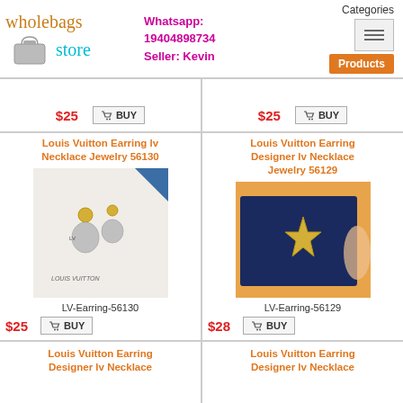Wholebags Store — Whatsapp: 19404898734 — Seller: Kevin — Categories / Products
[Figure (screenshot): Partial product listing at top — price $25 and BUY buttons for two products (left and right), cut off at top]
Louis Vuitton Earring lv Necklace Jewelry 56130
[Figure (photo): Photo of Louis Vuitton drop earrings with monogram charms on white cloth background, text LOUIS VUITTON visible]
LV-Earring-56130
$25
Louis Vuitton Earring Designer lv Necklace Jewelry 56129
[Figure (photo): Photo of Louis Vuitton earring with star/cross charm displayed in navy blue box]
LV-Earring-56129
$28
Louis Vuitton Earring Designer lv Necklace (partial, cut off)
Louis Vuitton Earring Designer lv Necklace (partial, cut off)